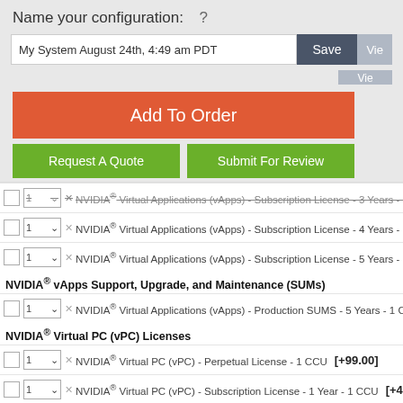Name your configuration: ?
My System August 24th, 4:49 am PDT
Add To Order
Request A Quote
Submit For Review
NVIDIA® Virtual Applications (vApps) - Subscription License - 3 Years - 1 CCU
NVIDIA® Virtual Applications (vApps) - Subscription License - 4 Years - 1 CCU
NVIDIA® Virtual Applications (vApps) - Subscription License - 5 Years - 1 CCU
NVIDIA® vApps Support, Upgrade, and Maintenance (SUMs)
NVIDIA® Virtual Applications (vApps) - Production SUMS - 5 Years - 1 CCU
NVIDIA® Virtual PC (vPC) Licenses
NVIDIA® Virtual PC (vPC) - Perpetual License - 1 CCU  [+99.00]
NVIDIA® Virtual PC (vPC) - Subscription License - 1 Year - 1 CCU  [+49.00]
NVIDIA® Virtual PC (vPC) - Subscription License - 3 Years - 1 CCU  [+149.00]